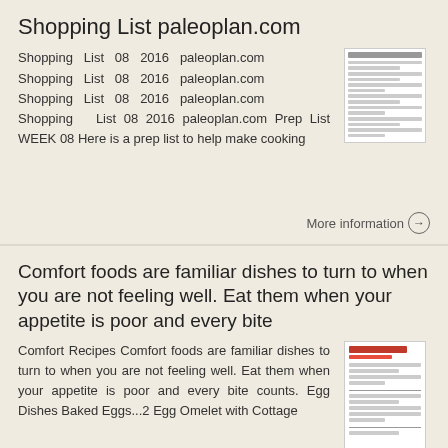Shopping List paleoplan.com
Shopping List 08 2016 paleoplan.com Shopping List 08 2016 paleoplan.com Shopping List 08 2016 paleoplan.com Shopping List 08 2016 paleoplan.com Prep List WEEK 08 Here is a prep list to help make cooking
More information →
Comfort foods are familiar dishes to turn to when you are not feeling well. Eat them when your appetite is poor and every bite
Comfort Recipes Comfort foods are familiar dishes to turn to when you are not feeling well. Eat them when your appetite is poor and every bite counts. Egg Dishes Baked Eggs...2 Egg Omelet with Cottage
More information →